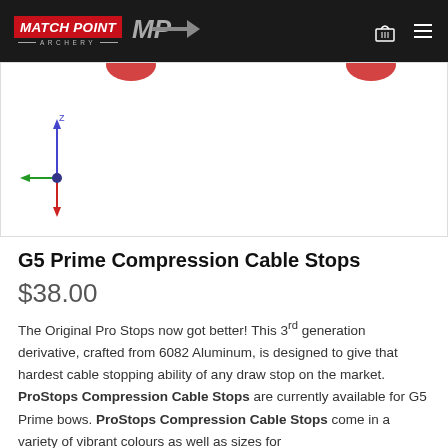Match Point Archery
[Figure (photo): Product image area showing archery cable stops with 3D axis/coordinate diagram indicator and partial red circular elements at top]
G5 Prime Compression Cable Stops
$38.00
The Original Pro Stops now got better! This 3rd generation derivative, crafted from 6082 Aluminum, is designed to give that hardest cable stopping ability of any draw stop on the market. ProStops Compression Cable Stops are currently available for G5 Prime bows. ProStops Compression Cable Stops come in a variety of vibrant colours as well as sizes for